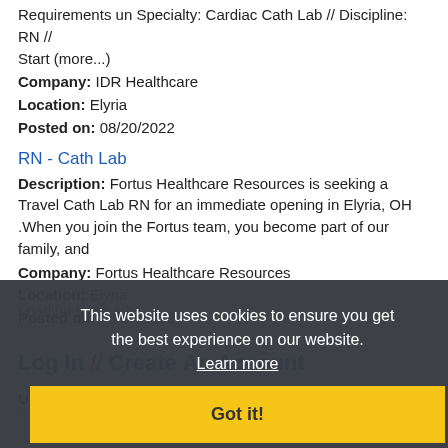Requirements un Specialty: Cardiac Cath Lab // Discipline: RN // Start (more...)
Company: IDR Healthcare
Location: Elyria
Posted on: 08/20/2022
RN - Cath Lab
Description: Fortus Healthcare Resources is seeking a Travel Cath Lab RN for an immediate opening in Elyria, OH .When you join the Fortus team, you become part of our family, and
Company: Fortus Healthcare Resources
Location: Elyria
Posted on: 08/20/2022
Loading more jobs...
Log In // Create An Account
Username:
Password:
This website uses cookies to ensure you get the best experience on our website.
Learn more
Got it!